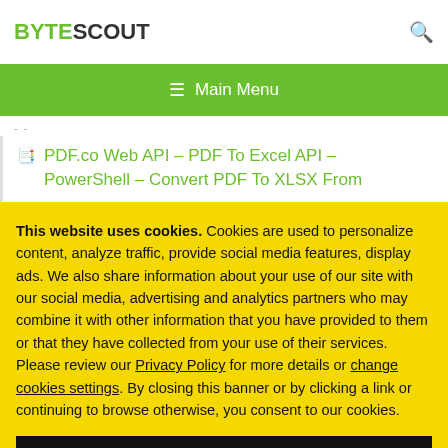BYTESCOUT
☰ Main Menu
PDF.co Web API – PDF To Excel API – PowerShell – Convert PDF To XLSX From
This website uses cookies. Cookies are used to personalize content, analyze traffic, provide social media features, display ads. We also share information about your use of our site with our social media, advertising and analytics partners who may combine it with other information that you have provided to them or that they have collected from your use of their services. Please review our Privacy Policy for more details or change cookies settings. By closing this banner or by clicking a link or continuing to browse otherwise, you consent to our cookies.
OK